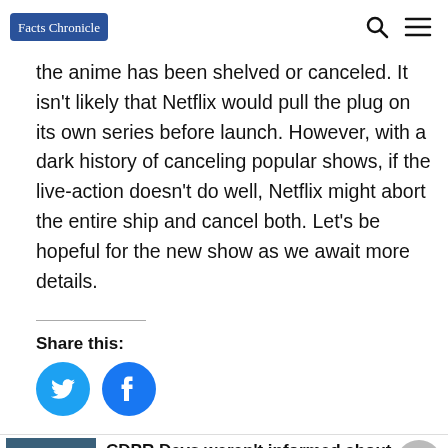Facts Chronicle
the anime has been shelved or canceled. It isn't likely that Netflix would pull the plug on its own series before launch. However, with a dark history of canceling popular shows, if the live-action doesn't do well, Netflix might abort the entire ship and cancel both. Let's be hopeful for the new show as we await more details.
Share this:
[Figure (other): Twitter share button (blue circle with bird icon) and Facebook share button (blue circle with f icon)]
[Figure (photo): Thumbnail photo for related article about CDPR Devs]
CDPR Devs weren't informed about Cyberpunk 2077 Delay and extra crunch